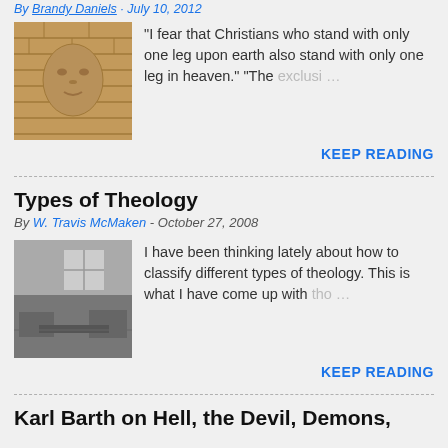By Brandy Daniels · July 10, 2012
[Figure (photo): Stone or bronze relief sculpture of a human face mounted on a brick wall]
"I fear that Christians who stand with only one leg upon earth also stand with only one leg in heaven." "The exclusi… …
KEEP READING
Types of Theology
By W. Travis McMaken - October 27, 2008
[Figure (photo): Black and white photograph of an interior room with furniture and windows]
I have been thinking lately about how to classify different types of theology. This is what I have come up with tho… …
KEEP READING
Karl Barth on Hell, the Devil, Demons,